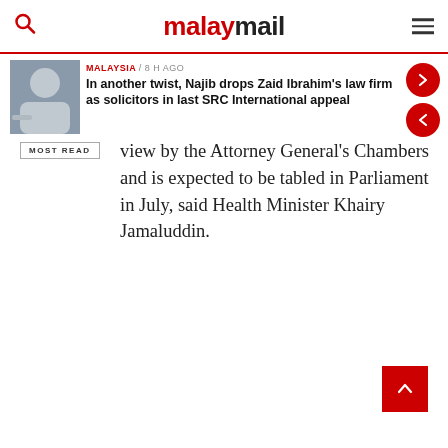malaymail
[Figure (photo): Photo of a man in a suit wearing a face mask, waving]
MALAYSIA / 8 h ago
In another twist, Najib drops Zaid Ibrahim's law firm as solicitors in last SRC International appeal
MOST READ
view by the Attorney General's Chambers and is expected to be tabled in Parliament in July, said Health Minister Khairy Jamaluddin.